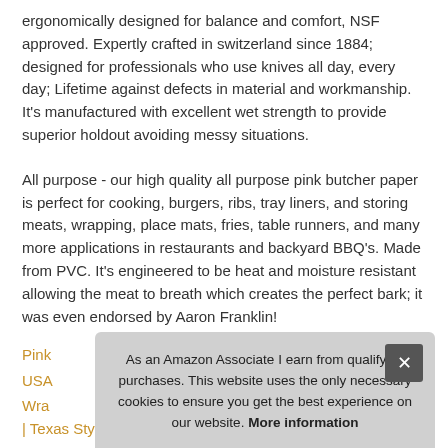ergonomically designed for balance and comfort, NSF approved. Expertly crafted in switzerland since 1884; designed for professionals who use knives all day, every day; Lifetime against defects in material and workmanship. It's manufactured with excellent wet strength to provide superior holdout avoiding messy situations.
All purpose - our high quality all purpose pink butcher paper is perfect for cooking, burgers, ribs, tray liners, and storing meats, wrapping, place mats, fries, table runners, and many more applications in restaurants and backyard BBQ's. Made from PVC. It's engineered to be heat and moisture resistant allowing the meat to breath which creates the perfect bark; it was even endorsed by Aaron Franklin!
Pink [link]
USA [link]
Wra [link]
| Texas Style #ad - High carbon stainless-steel blade provides
As an Amazon Associate I earn from qualifying purchases. This website uses the only necessary cookies to ensure you get the best experience on our website. More information